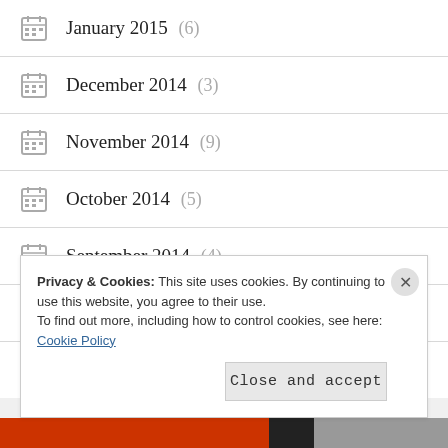January 2015 (6)
December 2014 (3)
November 2014 (9)
October 2014 (5)
September 2014 (4)
August 2014 (3)
July 2014 (3)
Privacy & Cookies: This site uses cookies. By continuing to use this website, you agree to their use. To find out more, including how to control cookies, see here: Cookie Policy
Close and accept